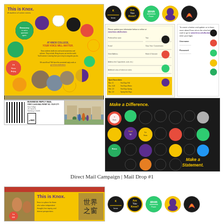[Figure (illustration): Knox College direct mail campaign mailer front and back. Yellow brochure with circular buttons/badges, 'This is Knox. A tradition of active voices.' heading in purple. Circular photo collage of students and activity badges. Back of mailer shows BUSINESS REPLY MAIL barcode. Campus photo inset.]
[Figure (illustration): Row of five circular buttons/badges: black with yellow design, 'Are You Knox?' black/yellow, green 'BRAIN' button, purple head silhouette, red flame design.]
[Figure (illustration): Form/reply card with gold background, fields for contact information, and mailing details.]
[Figure (illustration): Instruction card with text about creating a button and logging in online.]
[Figure (illustration): Dark 'Make a Difference.' card with colorful circular buttons and text 'Make a Statement.' on dark background.]
Direct Mail Campaign | Mail Drop #1
[Figure (illustration): Second mail piece - horizontal yellow mailer with 'This is Knox.' text in purple, student photos, red banner top, Asian characters stamp. Text: 'Knox is a place for those who value independent thought, free inquiry, and diverse perspectives.']
[Figure (illustration): Row of five circular buttons/badges matching first row: black with yellow, 'Are You Knox?', green BRAIN, purple head, red flame.]